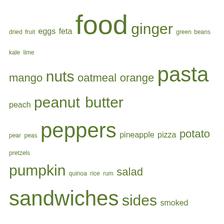[Figure (infographic): Word cloud of food-related terms in various font sizes, all in olive/dark green color on white background. Larger words appear more frequently. Words include: dried fruit, eggs, feta, food, ginger, green beans, kale, lime, mango, nuts, oatmeal, orange, pasta, peach, peanut butter, pear, peas, peppers, pineapple, pizza, potato, pretzels, pumpkin, quinoa, rice, rum, salad, sandwiches, sides, smoked paprika, smoothies, snacks, soup, spinach, squash, strawberries, sweet potato, tomatoes, turkey, turkey sausage, vegetarian, yogurt, zucchini]
Meta
Register
Log in
Entries feed
Comments feed